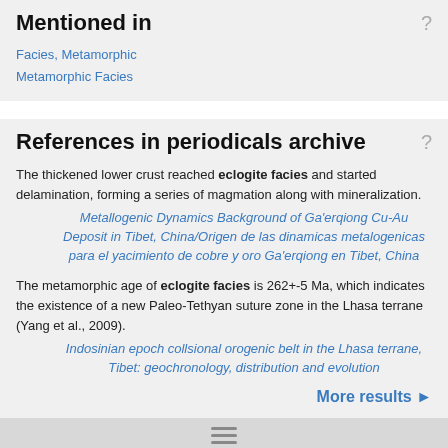Mentioned in
Facies, Metamorphic
Metamorphic Facies
References in periodicals archive
The thickened lower crust reached eclogite facies and started delamination, forming a series of magmation along with mineralization.
Metallogenic Dynamics Background of Ga'erqiong Cu-Au Deposit in Tibet, China/Origen de las dinamicas metalogenicas para el yacimiento de cobre y oro Ga'erqiong en Tibet, China
The metamorphic age of eclogite facies is 262+-5 Ma, which indicates the existence of a new Paleo-Tethyan suture zone in the Lhasa terrane (Yang et al., 2009).
Indosinian epoch collsional orogenic belt in the Lhasa terrane, Tibet: geochronology, distribution and evolution
More results ►